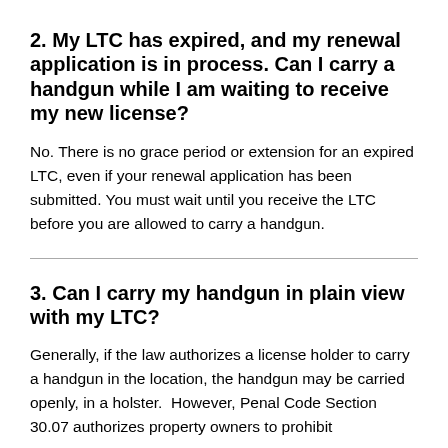2. My LTC has expired, and my renewal application is in process. Can I carry a handgun while I am waiting to receive my new license?
No. There is no grace period or extension for an expired LTC, even if your renewal application has been submitted. You must wait until you receive the LTC before you are allowed to carry a handgun.
3. Can I carry my handgun in plain view with my LTC?
Generally, if the law authorizes a license holder to carry a handgun in the location, the handgun may be carried openly, in a holster.  However, Penal Code Section 30.07 authorizes property owners to prohibit